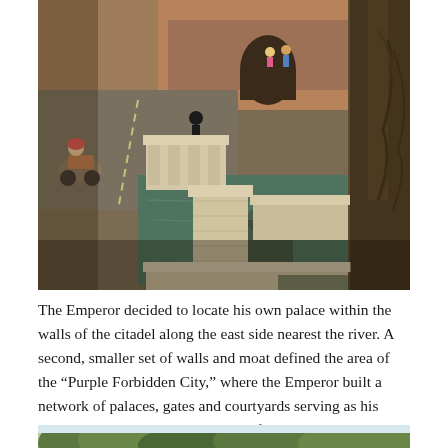[Figure (photo): A stone bridge with white balustrades crossing a green moat, with a fortified citadel gate/archway visible in the background. A motorcyclist is on the left side of the road, a person stands on the bridge, and large tree roots hang on the right. The scene appears to be at Hue Citadel, Vietnam.]
The Emperor decided to locate his own palace within the walls of the citadel along the east side nearest the river. A second, smaller set of walls and moat defined the area of the “Purple Forbidden City,” where the Emperor built a network of palaces, gates and courtyards serving as his home and the administrative core of the Empire.
[Figure (photo): Partial view of a tree canopy with green leaves against a bright sky, cropped at the bottom of the page.]